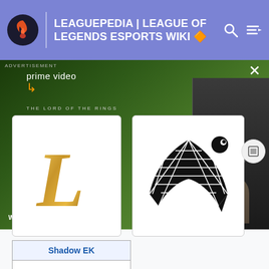LEAGUEPEDIA | LEAGUE OF LEGENDS ESPORTS WIKI
[Figure (screenshot): Amazon Prime Video advertisement for The Lord of the Rings: The Rings of Power. Shows two characters and text: prime video, THE LORD OF THE RINGS, THE RINGS OF POWER, WATCH NOW | NEW SERIES. Has a close button (X) and a reload button on a secondary image panel.]
[Figure (logo): Gold metallic letter L logo on white card background (League of Legends logo)]
[Figure (logo): Black stylized bird/cobra head logo on white card background]
| Shadow EK |
| --- |
|  |